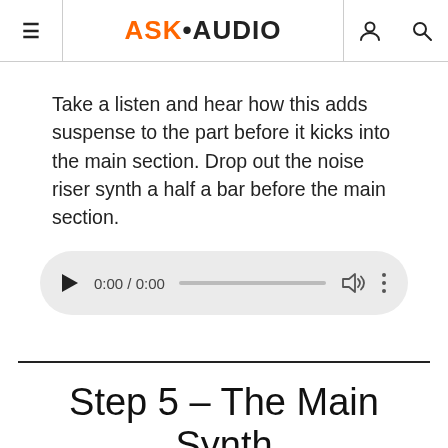ASK•AUDIO
Take a listen and hear how this adds suspense to the part before it kicks into the main section. Drop out the noise riser synth a half a bar before the main section.
[Figure (other): Audio player widget showing 0:00 / 0:00 with play button, progress bar, volume control, and more options button]
Step 5 – The Main Synth
We're almost done. Now for the last thing, the